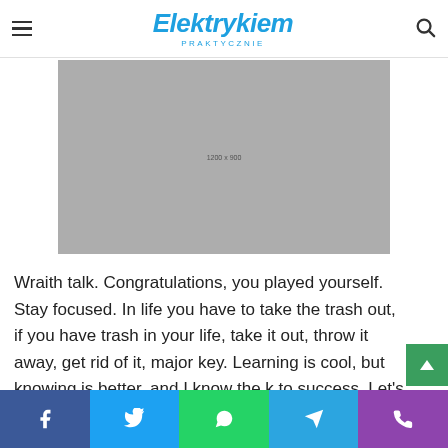Elektrykiem PRAKTYCZNIE
[Figure (photo): Grey placeholder image with dimensions text '1200 x 900' in center]
Wraith talk. Congratulations, you played yourself. Stay focused. In life you have to take the trash out, if you have trash in your life, take it out, throw it away, get rid of it, major key. Learning is cool, but knowing is better, and I know the key to success. Let's see what Chef Dee got that they don't wan
Facebook | Twitter | WhatsApp | Telegram | Phone